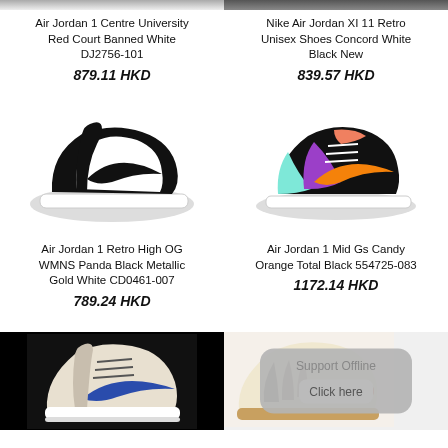[Figure (photo): Partial view of Air Jordan 1 shoe at top left]
[Figure (photo): Partial view of Nike Air Jordan XI shoe at top right]
Air Jordan 1 Centre University Red Court Banned White DJ2756-101
879.11 HKD
Nike Air Jordan XI 11 Retro Unisex Shoes Concord White Black New
839.57 HKD
[Figure (photo): Air Jordan 1 Retro High OG WMNS Panda black and white sneaker]
[Figure (photo): Air Jordan 1 Mid Gs Candy Orange Total Black colorful sneaker]
Air Jordan 1 Retro High OG WMNS Panda Black Metallic Gold White CD0461-007
789.24 HKD
Air Jordan 1 Mid Gs Candy Orange Total Black 554725-083
1172.14 HKD
[Figure (photo): Air Jordan 1 white and blue sneaker on black background]
Support Offline
Click here